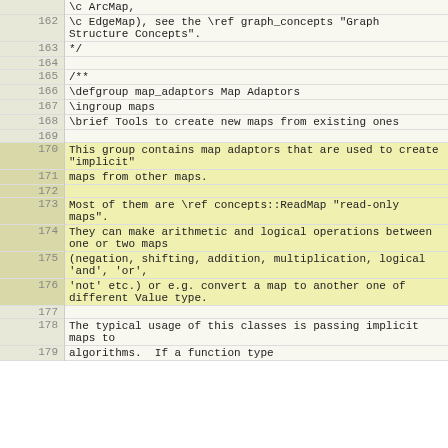| line | code |
| --- | --- |
|  | \c ArcMap, |
| 162 | \c EdgeMap), see the \ref graph_concepts "Graph Structure Concepts". |
| 163 | */ |
| 164 |  |
| 165 | /** |
| 166 | \defgroup map_adaptors Map Adaptors |
| 167 | \ingroup maps |
| 168 | \brief Tools to create new maps from existing ones |
| 169 |  |
| 170 | This group contains map adaptors that are used to create "implicit" |
| 171 | maps from other maps. |
| 172 |  |
| 173 | Most of them are \ref concepts::ReadMap "read-only maps". |
| 174 | They can make arithmetic and logical operations between one or two maps |
| 175 | (negation, shifting, addition, multiplication, logical 'and', 'or', |
| 176 | 'not' etc.) or e.g. convert a map to another one of different Value type. |
| 177 |  |
| 178 | The typical usage of this classes is passing implicit maps to |
| 179 | algorithms. If a function type |